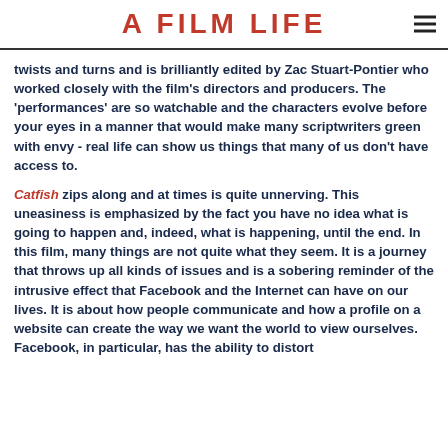A FILM LIFE
twists and turns and is brilliantly edited by Zac Stuart-Pontier who worked closely with the film's directors and producers. The 'performances' are so watchable and the characters evolve before your eyes in a manner that would make many scriptwriters green with envy - real life can show us things that many of us don't have access to.
Catfish zips along and at times is quite unnerving. This uneasiness is emphasized by the fact you have no idea what is going to happen and, indeed, what is happening, until the end. In this film, many things are not quite what they seem. It is a journey that throws up all kinds of issues and is a sobering reminder of the intrusive effect that Facebook and the Internet can have on our lives. It is about how people communicate and how a profile on a website can create the way we want the world to view ourselves. Facebook, in particular, has the ability to distort